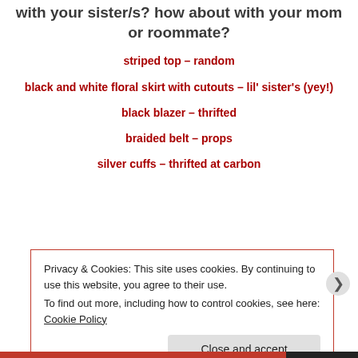with your sister/s? how about with your mom or roommate?
striped top – random
black and white floral skirt with cutouts – lil' sister's (yey!)
black blazer – thrifted
braided belt – props
silver cuffs – thrifted at carbon
Privacy & Cookies: This site uses cookies. By continuing to use this website, you agree to their use. To find out more, including how to control cookies, see here: Cookie Policy